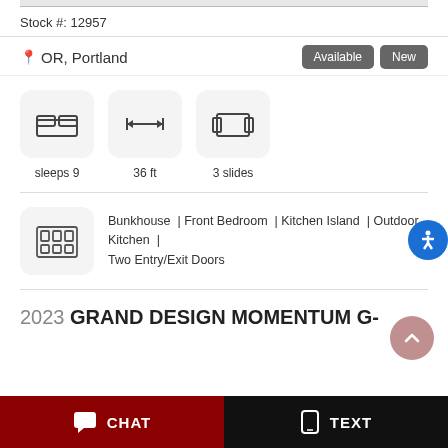Stock #: 12957
OR, Portland
Available   New
sleeps 9   36 ft   3 slides
Bunkhouse | Front Bedroom | Kitchen Island | Outdoor Kitchen | Two Entry/Exit Doors
2023 GRAND DESIGN MOMENTUM G-
CHAT   TEXT